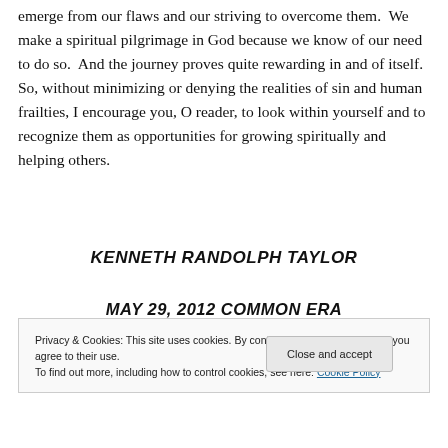emerge from our flaws and our striving to overcome them. We make a spiritual pilgrimage in God because we know of our need to do so. And the journey proves quite rewarding in and of itself. So, without minimizing or denying the realities of sin and human frailties, I encourage you, O reader, to look within yourself and to recognize them as opportunities for growing spiritually and helping others.
KENNETH RANDOLPH TAYLOR
MAY 29, 2012 COMMON ERA
Privacy & Cookies: This site uses cookies. By continuing to use this website, you agree to their use.
To find out more, including how to control cookies, see here: Cookie Policy
Close and accept